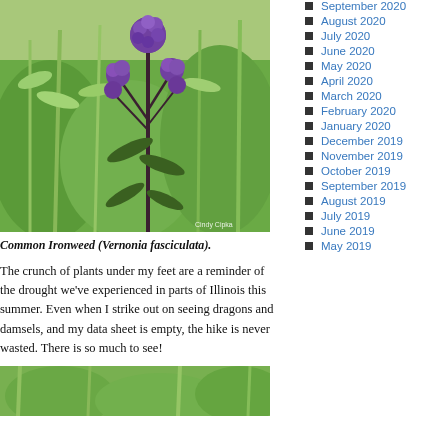[Figure (photo): Photograph of Common Ironweed plant with purple flowers against a green meadow background. Photo credit: Cindy Cipka]
Common Ironweed (Vernonia fasciculata).
The crunch of plants under my feet are a reminder of the drought we've experienced in parts of Illinois this summer. Even when I strike out on seeing dragons and damsels, and my data sheet is empty, the hike is never wasted. There is so much to see!
[Figure (photo): Partial photograph of green vegetation at bottom of page]
September 2020
August 2020
July 2020
June 2020
May 2020
April 2020
March 2020
February 2020
January 2020
December 2019
November 2019
October 2019
September 2019
August 2019
July 2019
June 2019
May 2019